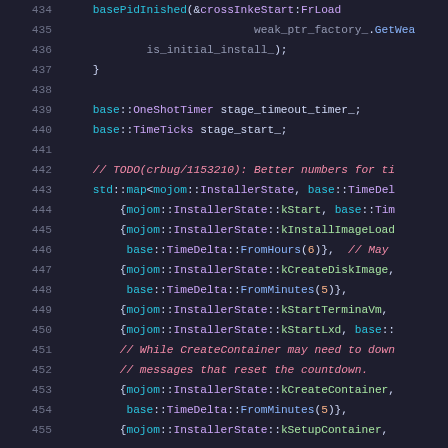[Figure (screenshot): Source code viewer showing lines 434-455 of a C++ file with syntax highlighting on dark background. Code shows timer, map declarations and InstallerState entries.]